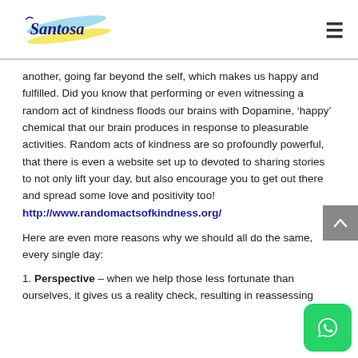Santosa [logo] [hamburger menu]
another, going far beyond the self, which makes us happy and fulfilled. Did you know that performing or even witnessing a random act of kindness floods our brains with Dopamine, ‘happy’ chemical that our brain produces in response to pleasurable activities. Random acts of kindness are so profoundly powerful, that there is even a website set up to devoted to sharing stories to not only lift your day, but also encourage you to get out there and spread some love and positivity too!   http://www.randomactsofkindness.org/
Here are even more reasons why we should all do the same, every single day:
1. Perspective – when we help those less fortunate than ourselves, it gives us a reality check, resulting in reassessing